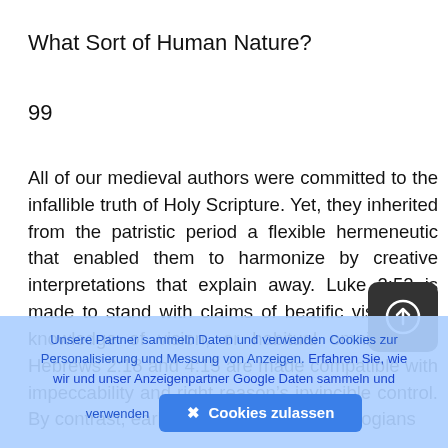What Sort of Human Nature?
99
All of our medieval authors were committed to the infallible truth of Holy Scripture. Yet, they inherited from the patristic period a flexible hermeneutic that enabled them to harmonize by creative interpretations that explain away. Luke 2:52 is made to stand with claims of beatific vision and knowledge of vision, or habitual omniscience. Hebrews 2:18 and 4:15 are made compatible with impeccability and right reason’s invincible control. By contrast, early twentieth century theologians